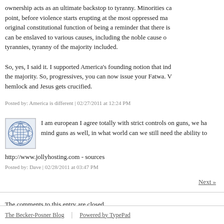ownership acts as an ultimate backstop to tyranny. Minorities can even get to the point, before violence starts erupting at the most oppressed margins, recalling its original constitutional function of being a reminder that there is a line. Citizens can be enslaved to various causes, including the noble cause of liberating the poor from tyrannies, tyranny of the majority included.
So, yes, I said it. I supported America's founding notion that individuals can resist the majority. So, progressives, you can now issue your Fatwa. Wise men drink hemlock and Jesus gets crucified.
Posted by: America is different | 02/27/2011 at 12:24 PM
[Figure (illustration): Small avatar icon showing a blue wireframe globe/sphere pattern on white background]
I am european I agree totally with strict controls on guns, we have controls on mind guns as well, in what world can we still need the ability to
http://www.jollyhosting.com - sources
Posted by: Dave | 02/28/2011 at 03:47 PM
Next »
The comments to this entry are closed.
The Becker-Posner Blog | Powered by TypePad